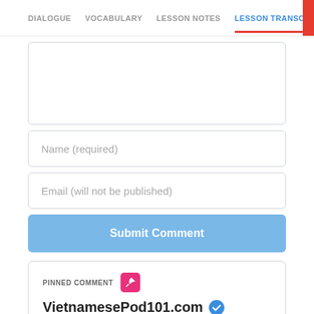DIALOGUE  VOCABULARY  LESSON NOTES  LESSON TRANSCRIPT  C
[Figure (screenshot): Empty comment textarea input box]
Name (required)
Email (will not be published)
Submit Comment
PINNED COMMENT
VietnamesePod101.com
2013-04-24 12:00:04
Hi everyone!